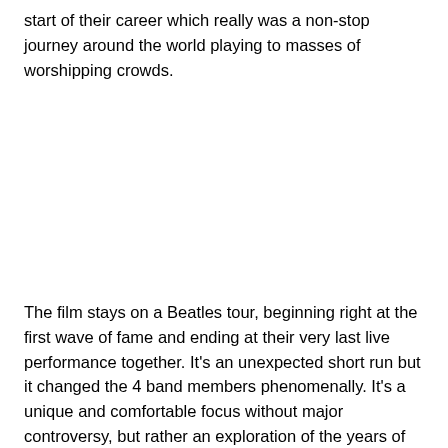start of their career which really was a non-stop journey around the world playing to masses of worshipping crowds.
The film stays on a Beatles tour, beginning right at the first wave of fame and ending at their very last live performance together. It's an unexpected short run but it changed the 4 band members phenomenally. It's a unique and comfortable focus without major controversy, but rather an exploration of the years of their lives and